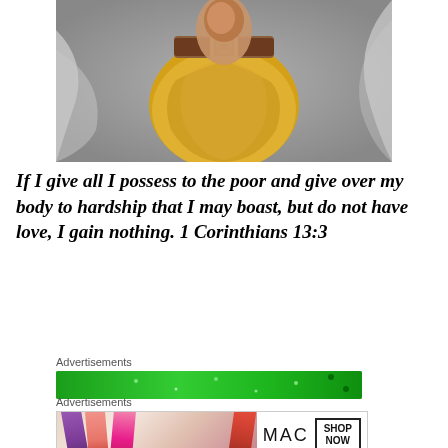[Figure (photo): Close-up photo of a person wearing a yellow/mustard top and a brown leather belt, viewed from above, with blurred gray background]
If I give all I possess to the poor and give over my body to hardship that I may boast, but do not have love, I gain nothing. 1 Corinthians 13:3
Advertisements
[Figure (other): Green advertisement banner]
Advertisements
[Figure (other): MAC cosmetics advertisement showing lipsticks with SHOP NOW button]